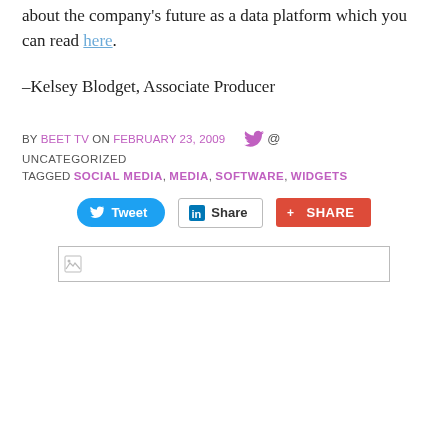about the company's future as a data platform which you can read here.
–Kelsey Blodget, Associate Producer
BY BEET TV ON FEBRUARY 23, 2009   @
UNCATEGORIZED
TAGGED SOCIAL MEDIA, MEDIA, SOFTWARE, WIDGETS
[Figure (other): Social sharing buttons: Tweet, LinkedIn Share, Google+ Share]
[Figure (other): Broken image placeholder with border]